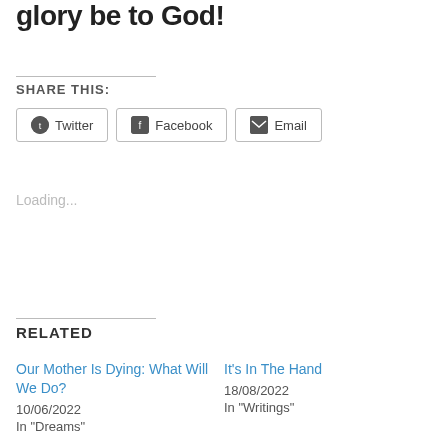glory be to God!
SHARE THIS:
Twitter  Facebook  Email
Loading...
RELATED
Our Mother Is Dying: What Will We Do?
10/06/2022
In "Dreams"
It's In The Hand
18/08/2022
In "Writings"